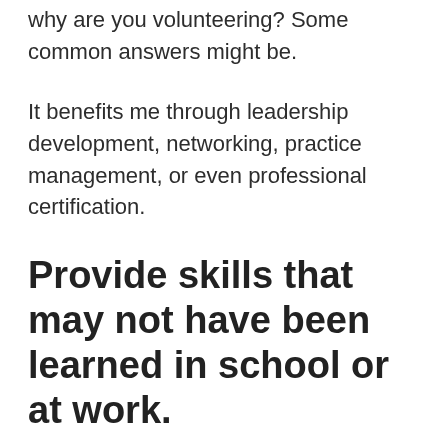why are you volunteering? Some common answers might be.
It benefits me through leadership development, networking, practice management, or even professional certification.
Provide skills that may not have been learned in school or at work.
Rewards of Volunteering: The pay doesn't go beyond what you receive from helping others in need, but there are many other